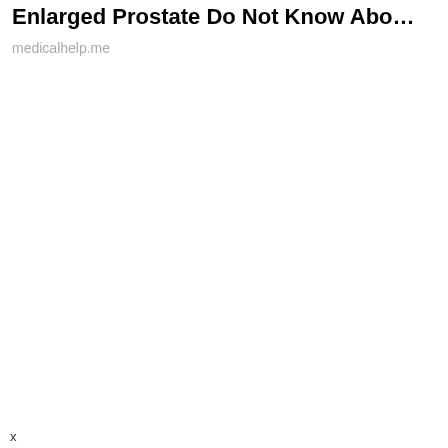Enlarged Prostate Do Not Know Abo…
medicalhelp.me
x